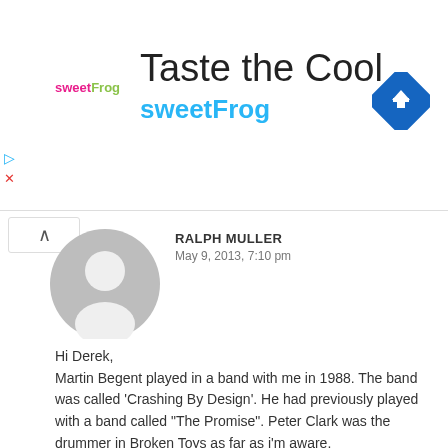[Figure (logo): sweetFrog frozen yogurt ad banner with logo, title 'Taste the Cool', brand name 'sweetFrog', and navigation diamond icon]
RALPH MULLER
May 9, 2013, 7:10 pm
Hi Derek,
Martin Begent played in a band with me in 1988. The band was called ‘Crashing By Design’. He had previously played with a band called “The Promise”. Peter Clark was the drummer in Broken Toys as far as i’m aware.
REPLY
DEZZY